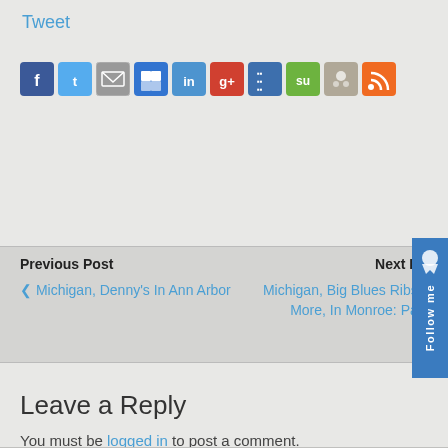Tweet
[Figure (other): Row of social sharing icon buttons: Facebook, Twitter, Email, Delicious, LinkedIn, Google+, HootSuite, StumbleUpon, Reddit, RSS]
Previous Post
‹ Michigan, Denny's In Ann Arbor
Next Post
Michigan, Big Blues Ribs And More, In Monroe: Part 2
[Figure (other): Follow me tab with Twitter bird icon on right side]
Leave a Reply
You must be logged in to post a comment.